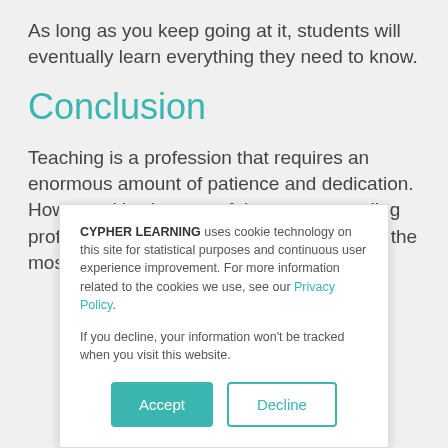As long as you keep going at it, students will eventually learn everything they need to know.
Conclusion
Teaching is a profession that requires an enormous amount of patience and dedication. However, it's also one of the most rewarding professions out there. You're part of one of the most essential systems in society.
CYPHER LEARNING uses cookie technology on this site for statistical purposes and continuous user experience improvement. For more information related to the cookies we use, see our Privacy Policy.

If you decline, your information won't be tracked when you visit this website.